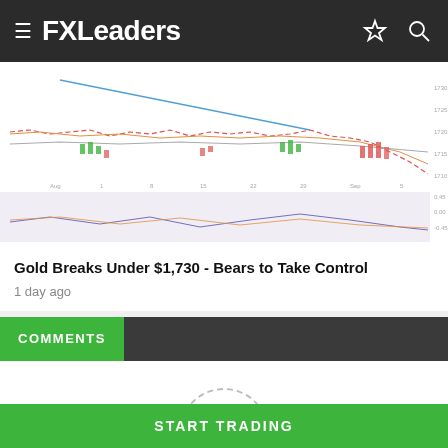FXLeaders
[Figure (continuous-plot): Technical chart of Gold price showing candlestick or line data with multiple indicators including moving averages (blue, red, orange lines), MACD or histogram indicators in green/red below, and a lower panel showing oscillator data in a shaded area. The chart shows a downward price movement on the right side.]
Gold Breaks Under $1,730 - Bears to Take Control
1 day ago
COMMENTS
[Figure (infographic): Article rating widget showing a dashed circle with the number 0 inside, dashes on either side, and 'Article Rating' label below. Star rating icons are partially visible at the bottom.]
Article Rating
START TRADING